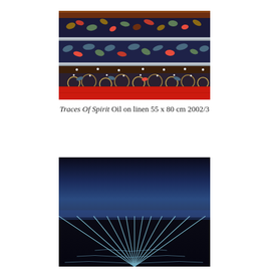[Figure (photo): Painting titled 'Traces Of Spirit' — horizontal banded composition with dark blue and red tones, featuring layered patterns of leaves, birds, circles, and a bold red band at the bottom. Oil on linen artwork.]
Traces Of Spirit Oil on linen 55 x 80 cm 2002/3
[Figure (photo): Painting showing a dark landscape with perspective lines (ploughed field or road) receding into the distance under a dark blue sky. Light blue parallel wavy lines converge toward the horizon.]